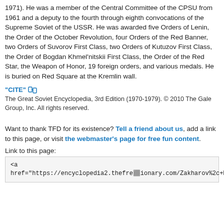1971). He was a member of the Central Committee of the CPSU from 1961 and a deputy to the fourth through eighth convocations of the Supreme Soviet of the USSR. He was awarded five Orders of Lenin, the Order of the October Revolution, four Orders of the Red Banner, two Orders of Suvorov First Class, two Orders of Kutuzov First Class, the Order of Bogdan Khmel'nitskii First Class, the Order of the Red Star, the Weapon of Honor, 19 foreign orders, and various medals. He is buried on Red Square at the Kremlin wall.
"CITE" The Great Soviet Encyclopedia, 3rd Edition (1970-1979). © 2010 The Gale Group, Inc. All rights reserved.
Want to thank TFD for its existence? Tell a friend about us, add a link to this page, or visit the webmaster's page for free fun content.
Link to this page:
<a href="https://encyclopedia2.thefreedictionary.com/Zakharov%2c+Matvei"